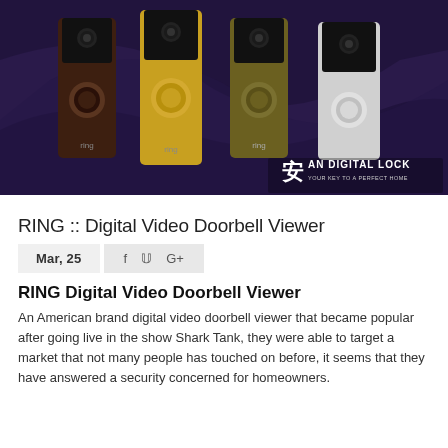[Figure (photo): Four Ring video doorbells in different colors (dark brown, gold, olive/bronze, silver/white) displayed against a dark purple background. AN DIGITAL LOCK logo with tagline 'YOUR KEY TO A PERFECT HOME' visible in the bottom right corner.]
RING :: Digital Video Doorbell Viewer
Mar, 25
RING Digital Video Doorbell Viewer
An American brand digital video doorbell viewer that became popular after going live in the show Shark Tank, they were able to target a market that not many people has touched on before, it seems that they have answered a security concerned for homeowners.